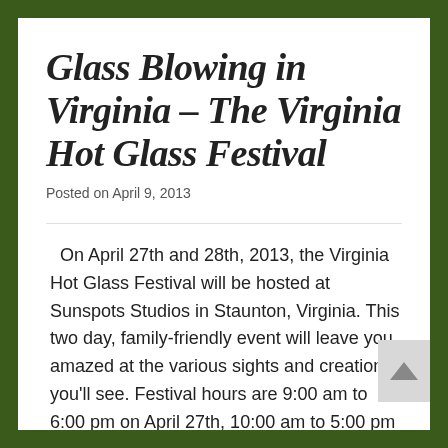Glass Blowing in Virginia – The Virginia Hot Glass Festival
Posted on April 9, 2013
On April 27th and 28th, 2013, the Virginia Hot Glass Festival will be hosted at Sunspots Studios in Staunton, Virginia. This two day, family-friendly event will leave you amazed at the various sights and creations you'll see. Festival hours are 9:00 am to 6:00 pm on April 27th, 10:00 am to 5:00 pm on [...]